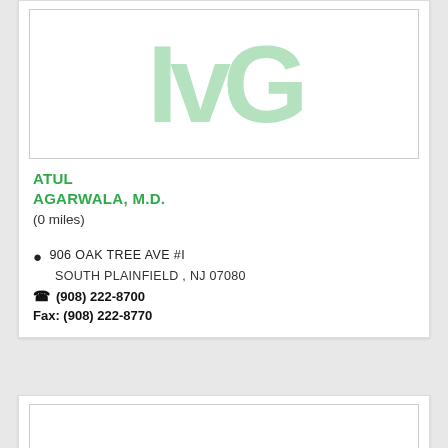[Figure (logo): IvG logo letters in light green on white background]
ATUL AGARWALA, M.D.
(0 miles)
906 OAK TREE AVE #I
SOUTH PLAINFIELD , NJ 07080
(908) 222-8700
Fax: (908) 222-8770